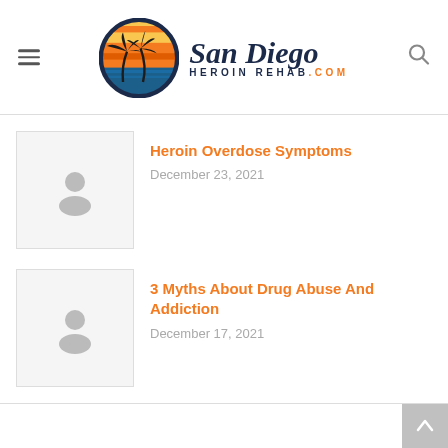[Figure (logo): San Diego Heroin Rehab .COM logo with palm tree sunset circle icon and stylized text]
[Figure (photo): Placeholder image thumbnail with gray person silhouette for Heroin Overdose Symptoms article]
Heroin Overdose Symptoms
December 23, 2021
[Figure (photo): Placeholder image thumbnail with gray person silhouette for 3 Myths About Drug Abuse And Addiction article]
3 Myths About Drug Abuse And Addiction
December 17, 2021
↑